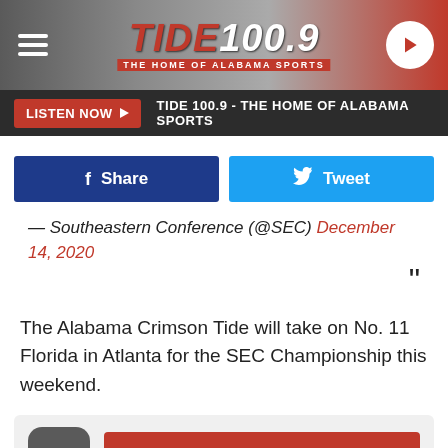[Figure (logo): Tide 100.9 radio station header with logo, hamburger menu, and play button]
LISTEN NOW ▶  TIDE 100.9 - THE HOME OF ALABAMA SPORTS
Share  Tweet
— Southeastern Conference (@SEC) December 14, 2020
The Alabama Crimson Tide will take on No. 11 Florida in Atlanta for the SEC Championship this weekend.
GET OUR FREE MOBILE APP